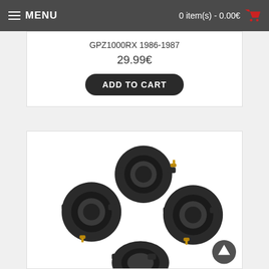MENU   0 item(s) - 0.00€
GPZ1000RX 1986-1987
29.99€
ADD TO CART
[Figure (photo): Four black rubber carburetor intake manifold boots/joints with brass fittings, arranged in a cluster on a white background. Motorcycle parts for GPZ1000RX 1986-1987.]